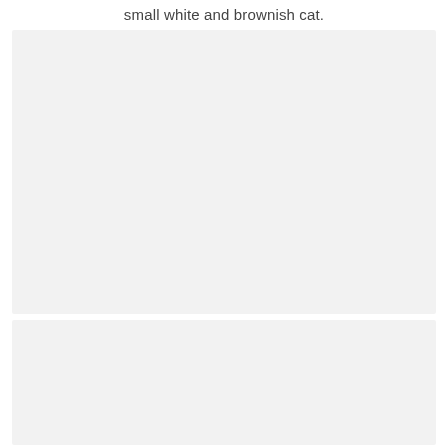small white and brownish cat.
[Figure (photo): Empty light gray placeholder box representing an image area (top image)]
[Figure (photo): Empty light gray placeholder box representing an image area (bottom image)]